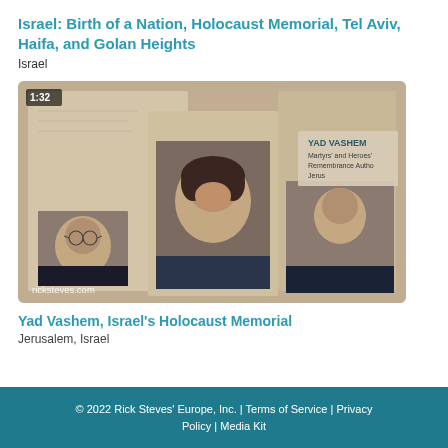Israel: Birth of a Nation, Holocaust Memorial, Tel Aviv, Haifa, and Golan Heights
Israel
[Figure (screenshot): Video thumbnail showing Yad Vashem Holocaust memorial photographs with three portrait photos and a YAD VASHEM sign. Timestamp 1:32 shown top-left. ricksteves.com watermark bottom-left.]
Yad Vashem, Israel’s Holocaust Memorial
Jerusalem, Israel
© 2022 Rick Steves' Europe, Inc. | Terms of Service | Privacy Policy | Media Kit